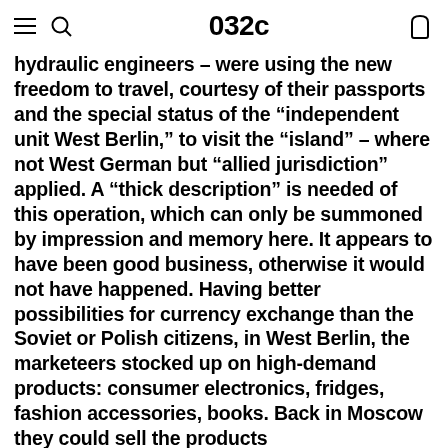032c
hydraulic engineers – were using the new freedom to travel, courtesy of their passports and the special status of the “independent unit West Berlin,” to visit the “island” – where not West German but “allied jurisdiction” applied. A “thick description” is needed of this operation, which can only be summoned by impression and memory here. It appears to have been good business, otherwise it would not have happened. Having better possibilities for currency exchange than the Soviet or Polish citizens, in West Berlin, the marketeers stocked up on high-demand products: consumer electronics, fridges, fashion accessories, books. Back in Moscow they could sell the products